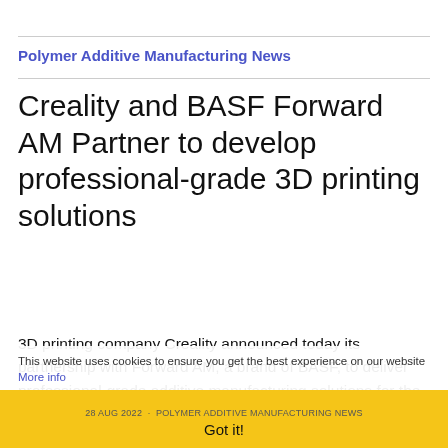Polymer Additive Manufacturing News
Creality and BASF Forward AM Partner to develop professional-grade 3D printing solutions
3D printing company Creality announced today its partnership with Forward AM, a brand of BASF, to deliver professional-grade additive manufacturing solutions for the market.
This website uses cookies to ensure you get the best experience on our website More info
28 AUG 2022 · POLYMER ADDITIVE MANUFACTURING NEWS
Got it!